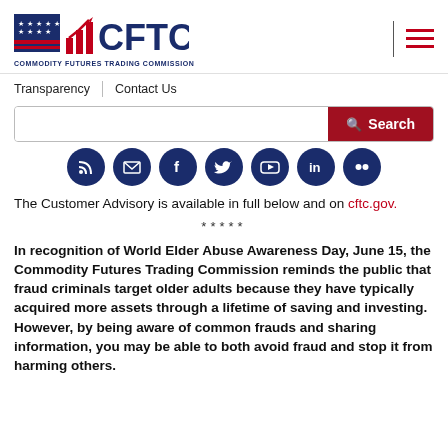[Figure (logo): CFTC Commodity Futures Trading Commission logo with stars-and-bars emblem and bar chart icon]
Transparency | Contact Us
[Figure (screenshot): Search bar with red Search button]
[Figure (infographic): Row of 7 dark blue circular social media icons: RSS, email, Facebook, Twitter, YouTube, LinkedIn, Flickr]
The Customer Advisory is available in full below and on cftc.gov.
*****
In recognition of World Elder Abuse Awareness Day, June 15, the Commodity Futures Trading Commission reminds the public that fraud criminals target older adults because they have typically acquired more assets through a lifetime of saving and investing. However, by being aware of common frauds and sharing information, you may be able to both avoid fraud and stop it from harming others.